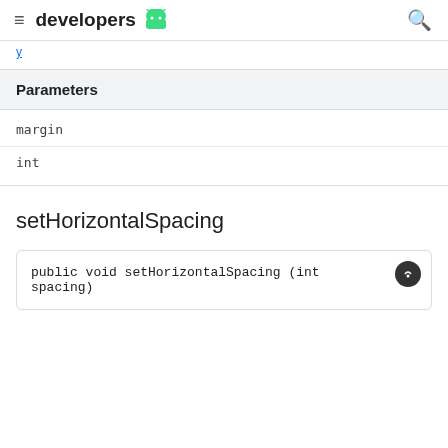developers
y
| Parameters |
| --- |
| margin |
| int |
setHorizontalSpacing
public void setHorizontalSpacing (int spacing)